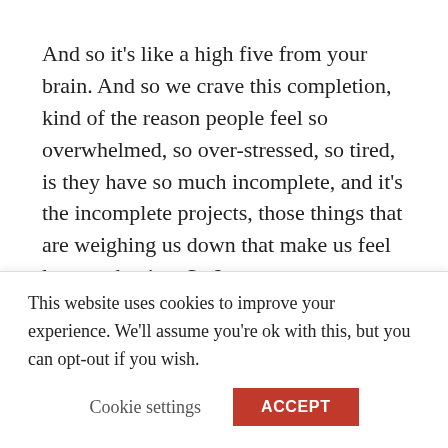And so it's like a high five from your brain. And so we crave this completion, kind of the reason people feel so overwhelmed, so over-stressed, so tired, is they have so much incomplete, and it's the incomplete projects, those things that are weighing us down that make us feel less productive. So I want to encourage listeners to try my 15-minute system. It's outlined in the folding time book we're giving to all of you, and I just want you to spend for the next week, just try it out 15 minutes every day, identify your top three, not negotiable activities, and then write
This website uses cookies to improve your experience. We'll assume you're ok with this, but you can opt-out if you wish.
Cookie settings
ACCEPT